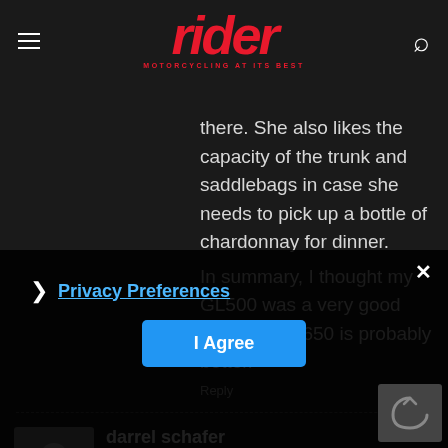rider — MOTORCYCLING AT ITS BEST
there. She also likes the capacity of the trunk and saddlebags in case she needs to pick up a bottle of chardonnay for dinner.
In summary, I thought my GL500 was a very good bike–the GL650 is probably better.
Reply
darrel schafer
October 8, 2016 At 2:48 pm
Greetings
A little help please. I recently bought a 1983 GL650 Interstate with the plans to turn it into the stand  fairing or saddlebags. Mo  howed little inte  due to the unknowns and headaches
Privacy Preferences
I Agree